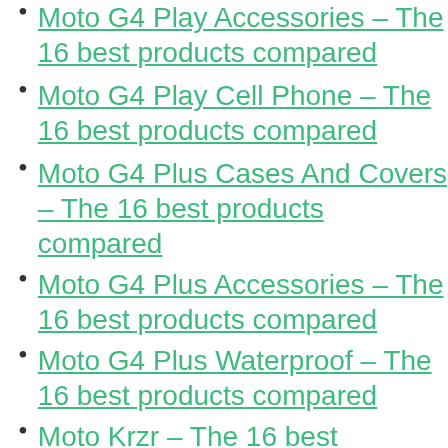Moto G4 Play Accessories – The 16 best products compared
Moto G4 Play Cell Phone – The 16 best products compared
Moto G4 Plus Cases And Covers – The 16 best products compared
Moto G4 Plus Accessories – The 16 best products compared
Moto G4 Plus Waterproof – The 16 best products compared
Moto Krzr – The 16 best products compared
Moto L2 – The 16 best products